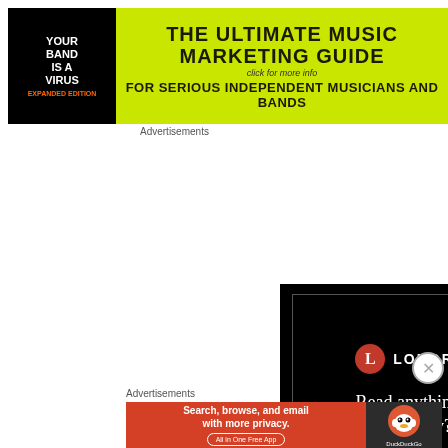[Figure (illustration): Banner advertisement: 'Your Band Is A Virus - The Ultimate Music Marketing Guide, click for more info, For Serious Independent Musicians And Bands' on yellow-green background with black logo section]
Advertisements
[Figure (illustration): Longreads advertisement on black background with red circle L logo, text 'Read anything great lately?' and red 'Start reading' button]
Advertisements
[Figure (illustration): DuckDuckGo advertisement: orange section with 'Search, browse, and email with more privacy. All in One Free App' and dark section with DuckDuckGo duck logo]